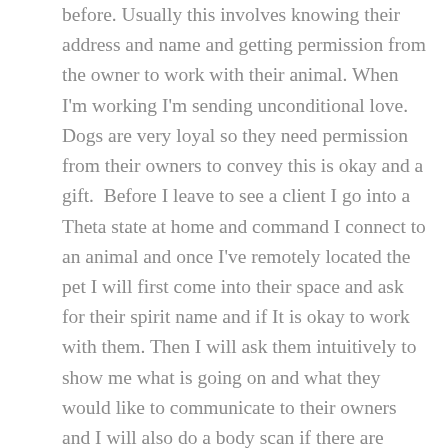before. Usually this involves knowing their address and name and getting permission from the owner to work with their animal. When I'm working I'm sending unconditional love. Dogs are very loyal so they need permission from their owners to convey this is okay and a gift.  Before I leave to see a client I go into a Theta state at home and command I connect to an animal and once I've remotely located the pet I will first come into their space and ask for their spirit name and if It is okay to work with them. Then I will ask them intuitively to show me what is going on and what they would like to communicate to their owners and I will also do a body scan if there are physical problems. This takes just a few minuets and usually what I get are quick images of things and sometimes words like walk. Yes, most dogs just want a walk! Sometimes I will see a toy, say a grey teddy